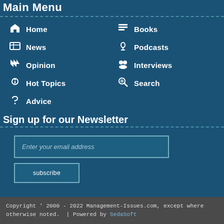Main Menu
Home
News
Opinion
Hot Topics
Advice
Books
Podcasts
Interviews
Search
Sign up for our Newsletter
Enter your email address
subscribe
Copyright ' 2000 - 2022 Management-Issues.com, except where otherwise noted. | Powered by SedaSoft